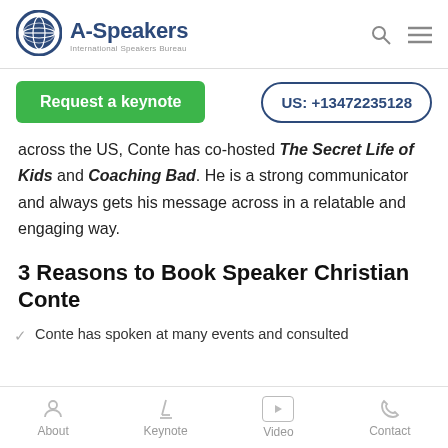A-Speakers International Speakers Bureau
[Figure (logo): A-Speakers International Speakers Bureau logo with globe icon]
Request a keynote | US: +13472235128
across the US, Conte has co-hosted The Secret Life of Kids and Coaching Bad. He is a strong communicator and always gets his message across in a relatable and engaging way.
3 Reasons to Book Speaker Christian Conte
Conte has spoken at many events and consulted
About | Keynote | Video | Contact